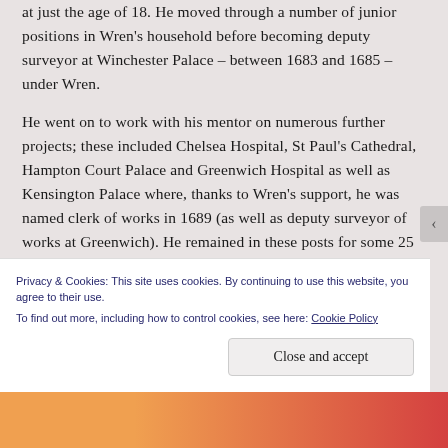at just the age of 18. He moved through a number of junior positions in Wren's household before becoming deputy surveyor at Winchester Palace – between 1683 and 1685 – under Wren.
He went on to work with his mentor on numerous further projects; these included Chelsea Hospital, St Paul's Cathedral, Hampton Court Palace and Greenwich Hospital as well as Kensington Palace where, thanks to Wren's support, he was named clerk of works in 1689 (as well as deputy surveyor of works at Greenwich). He remained in these posts for some 25 years before he was removed thanks to political
Privacy & Cookies: This site uses cookies. By continuing to use this website, you agree to their use.
To find out more, including how to control cookies, see here: Cookie Policy
Close and accept